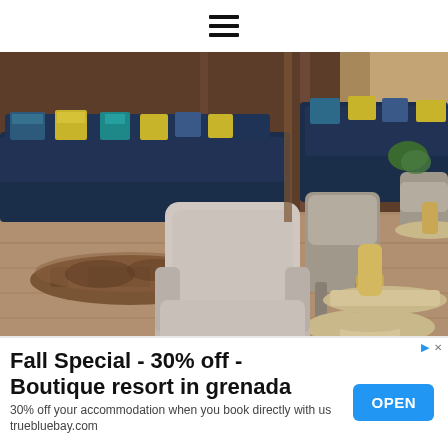☰
[Figure (photo): Hotel lobby bar interior with modern mid-century style furniture: a grey upholstered chair with wooden legs in the foreground, a round side table with brass base, navy blue sofas with yellow and teal pillows in the background, wooden coffee table, and hardwood-look flooring.]
(Hotel lobby bar)
Fall Special - 30% off - Boutique resort in grenada
30% off your accommodation when you book directly with us truebluebay.com